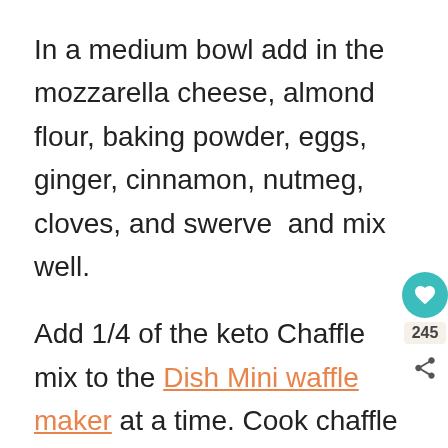In a medium bowl add in the mozzarella cheese, almond flour, baking powder, eggs, ginger, cinnamon, nutmeg, cloves, and swerve  and mix well.
Add 1/4 of the keto Chaffle mix to the Dish Mini waffle maker at a time. Cook chaffle batter in the waffle maker for 4 minutes.
DO NOT open before the 4 minutes is up. It is VERY important that you do not open the waffle maker before the 4-minute mark. After that, you can open it to check it